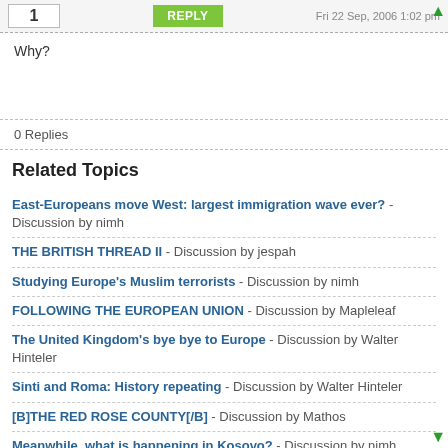Why?
0 Replies
Related Topics
East-Europeans move West: largest immigration wave ever? - Discussion by nimh
THE BRITISH THREAD II - Discussion by jespah
Studying Europe's Muslim terrorists - Discussion by nimh
FOLLOWING THE EUROPEAN UNION - Discussion by Mapleleaf
The United Kingdom's bye bye to Europe - Discussion by Walter Hinteler
Sinti and Roma: History repeating - Discussion by Walter Hinteler
[B]THE RED ROSE COUNTY[/B] - Discussion by Mathos
Meanwhile, what is happening in Kosovo? - Discussion by nimh
Leaving today for Europe - Discussion by cicerone imposter
So you think you know Europe? - Discussion by nimh
How should the EU be governed? Eur Council vs Eur